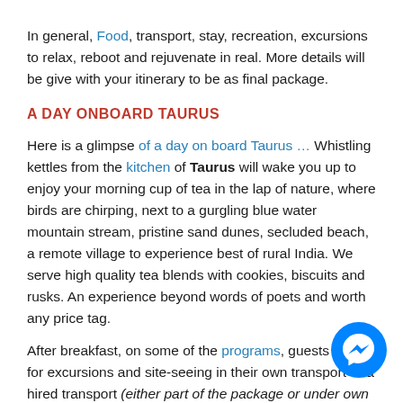In general, Food, transport, stay, recreation, excursions to relax, reboot and rejuvenate in real. More details will be give with your itinerary to be as final package.
A DAY ONBOARD TAURUS
Here is a glimpse of a day on board Taurus … Whistling kettles from the kitchen of Taurus will wake you up to enjoy your morning cup of tea in the lap of nature, where birds are chirping, next to a gurgling blue water mountain stream, pristine sand dunes, secluded beach, a remote village to experience best of rural India. We serve high quality tea blends with cookies, biscuits and rusks. An experience beyond words of poets and worth any price tag.
After breakfast, on some of the programs, guests go out for excursions and site-seeing in their own transport or a hired transport (either part of the package or under own arrange... On excursion, guests may also exercise their own choice f... (local cuisine, some prefer non veg food) for lunch and visits to